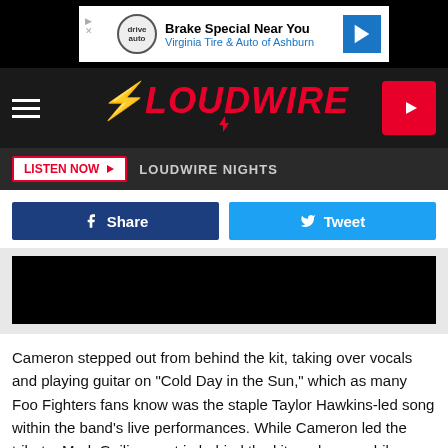[Figure (screenshot): Advertisement banner: Brake Special Near You – Virginia Tire & Auto of Ashburn]
LOUDWIRE
LISTEN NOW  LOUDWIRE NIGHTS
[Figure (screenshot): Share and Tweet social buttons row]
[Figure (screenshot): Black video player embed area]
Cameron stepped out from behind the kit, taking over vocals and playing guitar on "Cold Day in the Sun," which as many Foo Fighters fans know was the staple Taylor Hawkins-led song within the band's live performances. While Cameron led the tribute, Mark Guiliana sat in behind the kit on drums, while Vedder retreated to the back of the stage with Josh